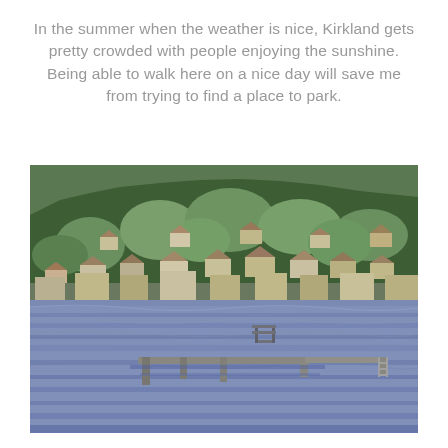In the summer when the weather is nice, Kirkland gets pretty crowded with people enjoying the sunshine. Being able to walk here on a nice day will save me from trying to find a place to park.
[Figure (photo): A waterfront scene in Kirkland showing a lake with a wooden dock/pier in the foreground and a hillside neighborhood with houses and evergreen trees in the background.]